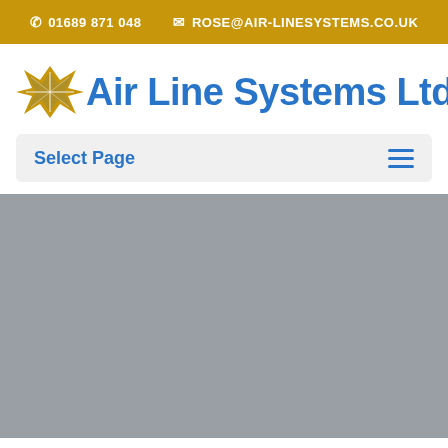📞 01689 871 048   ✉ ROSE@AIR-LINESYSTEMS.CO.UK
[Figure (logo): Air Line Systems Ltd logo with a blue X/star symbol and blue bold text reading 'Air Line Systems Ltd']
Select Page
[Figure (screenshot): Grey background area filling lower portion of the page, representing a website background or hero image area]